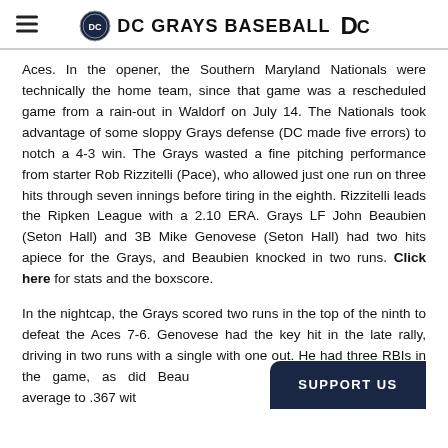DC GRAYS BASEBALL
Aces. In the opener, the Southern Maryland Nationals were technically the home team, since that game was a rescheduled game from a rain-out in Waldorf on July 14. The Nationals took advantage of some sloppy Grays defense (DC made five errors) to notch a 4-3 win. The Grays wasted a fine pitching performance from starter Rob Rizzitelli (Pace), who allowed just one run on three hits through seven innings before tiring in the eighth. Rizzitelli leads the Ripken League with a 2.10 ERA. Grays LF John Beaubien (Seton Hall) and 3B Mike Genovese (Seton Hall) had two hits apiece for the Grays, and Beaubien knocked in two runs. Click here for stats and the boxscore.
In the nightcap, the Grays scored two runs in the top of the ninth to defeat the Aces 7-6. Genovese had the key hit in the late rally, driving in two runs with a single with one out. He had three RBIs in the game, as did Beau team-leading batting average to .367 with